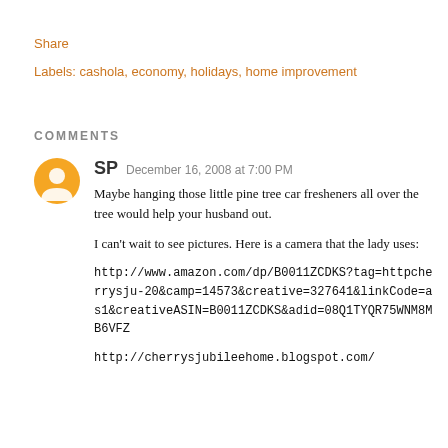Share
Labels: cashola, economy, holidays, home improvement
COMMENTS
SP   December 16, 2008 at 7:00 PM

Maybe hanging those little pine tree car fresheners all over the tree would help your husband out.

I can't wait to see pictures. Here is a camera that the lady uses:

http://www.amazon.com/dp/B0011ZCDKS?tag=httpcherrysju-20&camp=14573&creative=327641&linkCode=as1&creativeASIN=B0011ZCDKS&adid=08Q1TYQR75WNM8MB6VFZ

http://cherrysjubileehome.blogspot.com/